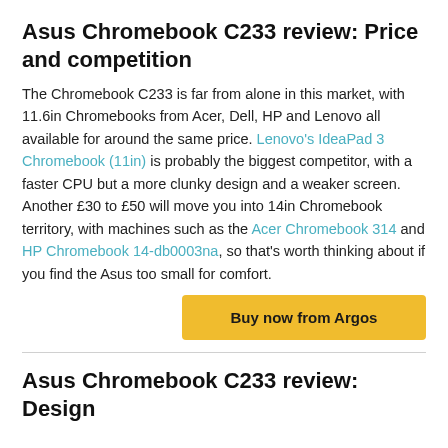Asus Chromebook C233 review: Price and competition
The Chromebook C233 is far from alone in this market, with 11.6in Chromebooks from Acer, Dell, HP and Lenovo all available for around the same price. Lenovo's IdeaPad 3 Chromebook (11in) is probably the biggest competitor, with a faster CPU but a more clunky design and a weaker screen. Another £30 to £50 will move you into 14in Chromebook territory, with machines such as the Acer Chromebook 314 and HP Chromebook 14-db0003na, so that's worth thinking about if you find the Asus too small for comfort.
[Figure (other): Buy now from Argos button — yellow/gold call-to-action button]
Asus Chromebook C233 review: Design